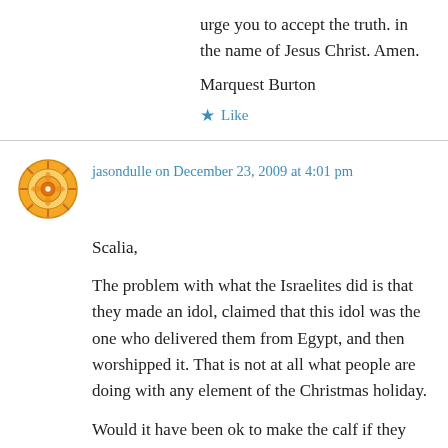urge you to accept the truth. in the name of Jesus Christ. Amen.
Marquest Burton
★ Like
jasondulle on December 23, 2009 at 4:01 pm
Scalia,
The problem with what the Israelites did is that they made an idol, claimed that this idol was the one who delivered them from Egypt, and then worshipped it. That is not at all what people are doing with any element of the Christmas holiday.
Would it have been ok to make the calf if they